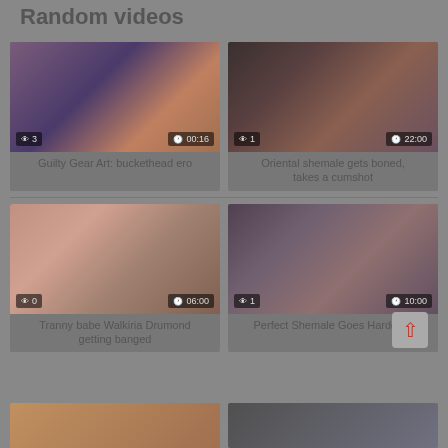Random videos
[Figure (screenshot): Anime style thumbnail - Guilty Gear Art, views: 3, duration: 00:16]
Guilty Gear Art: buckethead ero
[Figure (screenshot): Asian shemale video thumbnail, views: 1, duration: 22:00]
Oriental shemale gets boned, takes a cumshot
[Figure (screenshot): Tranny babe video thumbnail, views: 0, duration: 06:00]
Tranny babe Walkiria Drumond getting banged
[Figure (screenshot): Shemale hardcore video thumbnail, views: 1, duration: 10:00]
Perfect Shemale Goes Hardcore
[Figure (screenshot): Partial thumbnail bottom left]
[Figure (screenshot): Partial thumbnail bottom right]